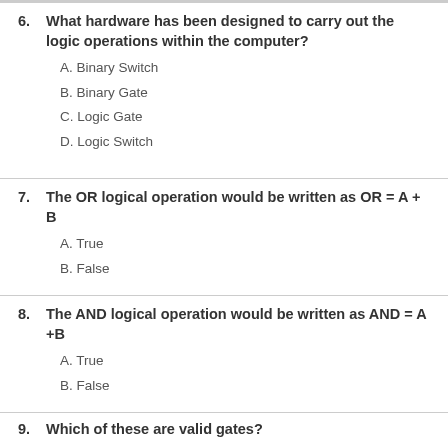6. What hardware has been designed to carry out the logic operations within the computer?
A. Binary Switch
B. Binary Gate
C. Logic Gate
D. Logic Switch
7. The OR logical operation would be written as OR = A + B
A. True
B. False
8. The AND logical operation would be written as AND = A +B
A. True
B. False
9. Which of these are valid gates?